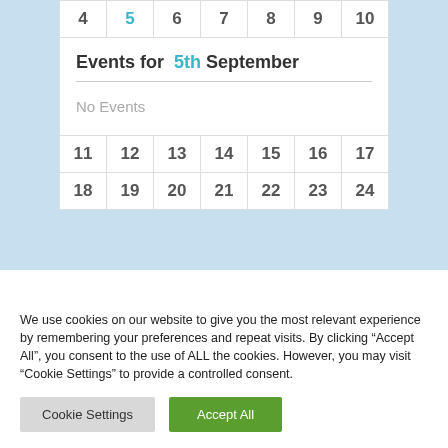| 4 | 5 | 6 | 7 | 8 | 9 | 10 |
| --- | --- | --- | --- | --- | --- | --- |
| 11 | 12 | 13 | 14 | 15 | 16 | 17 |
| 18 | 19 | 20 | 21 | 22 | 23 | 24 |
Events for 5th September
No Events
We use cookies on our website to give you the most relevant experience by remembering your preferences and repeat visits. By clicking “Accept All”, you consent to the use of ALL the cookies. However, you may visit "Cookie Settings" to provide a controlled consent.
Cookie Settings
Accept All